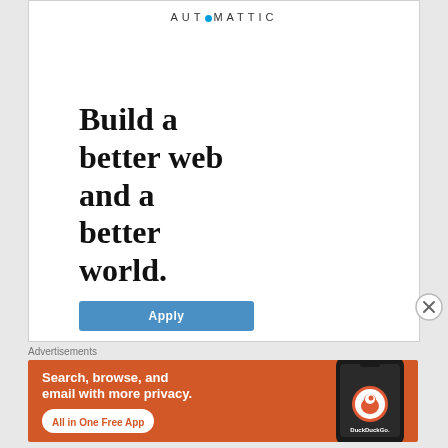[Figure (logo): Automattic logo text in uppercase with a blue dot between letters]
Build a better web and a better world.
[Figure (other): Blue Apply button]
[Figure (other): Close/X circle button on the right side]
Advertisements
[Figure (infographic): DuckDuckGo advertisement banner: orange/red background. Text: Search, browse, and email with more privacy. All in One Free App. DuckDuckGo logo with duck icon and smartphone graphic on the right.]